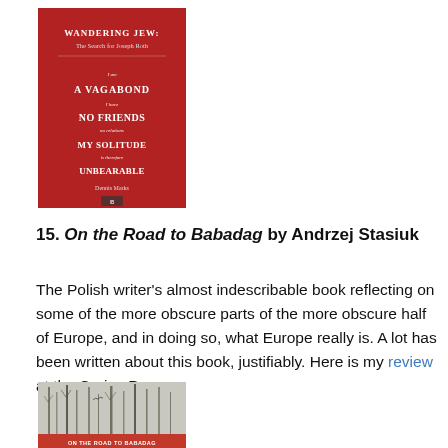[Figure (illustration): Red book cover of 'Wandering Jew: The Search for Joseph Roth' by Dennis Marks]
15. On the Road to Babadag by Andrzej Stasiuk
The Polish writer's almost indescribable book reflecting on some of the more obscure parts of the more obscure half of Europe, and in doing so, what Europe really is. A lot has been written about this book, justifiably. Here is my review at the Cerise Press.
[Figure (illustration): Book cover of 'On the Road to Babadag: Travels in the Other Europe' by Andrzej Stasiuk, showing winter trees and red band at bottom]